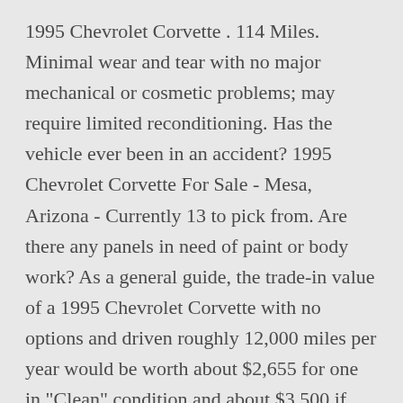1995 Chevrolet Corvette . 114 Miles. Minimal wear and tear with no major mechanical or cosmetic problems; may require limited reconditioning. Has the vehicle ever been in an accident? 1995 Chevrolet Corvette For Sale - Mesa, Arizona - Currently 13 to pick from. Are there any panels in need of paint or body work? As a general guide, the trade-in value of a 1995 Chevrolet Corvette with no options and driven roughly 12,000 miles per year would be worth about $2,655 for one in "Clean" condition and about $3,500 if you were selling it as a private party. Pre-owned 1995 Chevrolet Corvette for sale in IL, used 1995 Chevrolet Corvette for sale in IL, 1995 Chevrolet Corvette for sale in IL, pre-owned Corvette for sale in IL